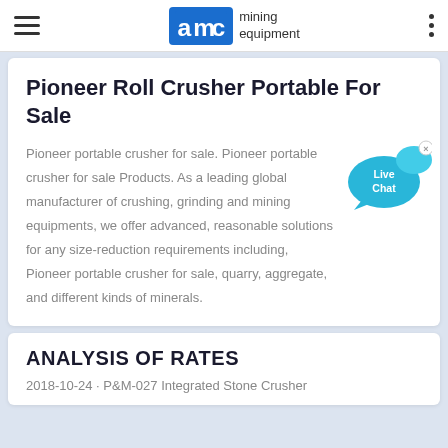AMC mining equipment
Pioneer Roll Crusher Portable For Sale
Pioneer portable crusher for sale. Pioneer portable crusher for sale Products. As a leading global manufacturer of crushing, grinding and mining equipments, we offer advanced, reasonable solutions for any size-reduction requirements including, Pioneer portable crusher for sale, quarry, aggregate, and different kinds of minerals.
ANALYSIS OF RATES
2018-10-24 · P&M-027 Integrated Stone Crusher